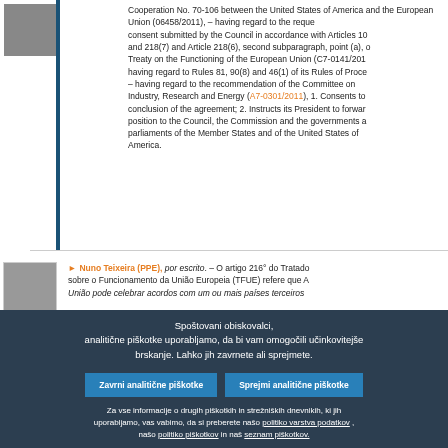Cooperation No. 70-106 between the United States of America and the European Union (06458/2011), – having regard to the request for consent submitted by the Council in accordance with Articles 100(2) and 218(7) and Article 218(6), second subparagraph, point (a), of the Treaty on the Functioning of the European Union (C7-0141/2011), – having regard to Rules 81, 90(8) and 46(1) of its Rules of Procedure, – having regard to the recommendation of the Committee on Industry, Research and Energy (A7-0301/2011), 1. Consents to the conclusion of the agreement; 2. Instructs its President to forward its position to the Council, the Commission and the governments and parliaments of the Member States and of the United States of America.
Nuno Teixeira (PPE), por escrito. – O artigo 216° do Tratado sobre o Funcionamento da União Europeia (TFUE) refere que A União pode celebrar acordos com um ou mais países terceiros
Spoštovani obiskovalci, analitične piškotke uporabljamo, da bi vam omogočili učinkovitejše brskanje. Lahko jih zavrnete ali sprejmete.
Zavrni analitične piškotke
Sprejmi analitične piškotke
Za vse informacije o drugih piškotkih in strežniških dnevnikih, ki jih uporabljamo, vas vabimo, da si preberete našo politiko varstva podatkov , našo politiko piškotkov in naš seznam piškotkov.